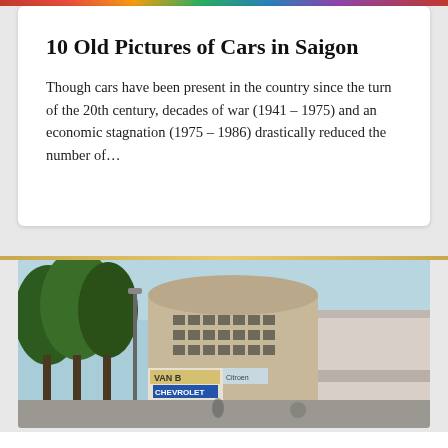10 Old Pictures of Cars in Saigon
Though cars have been present in the country since the turn of the 20th century, decades of war (1941 – 1975) and an economic stagnation (1975 – 1986) drastically reduced the number of…
[Figure (photo): Old photograph of a street in Saigon showing buildings including a rounded Art Deco structure, a VAN B sign, trees on the left side, and storefronts.]